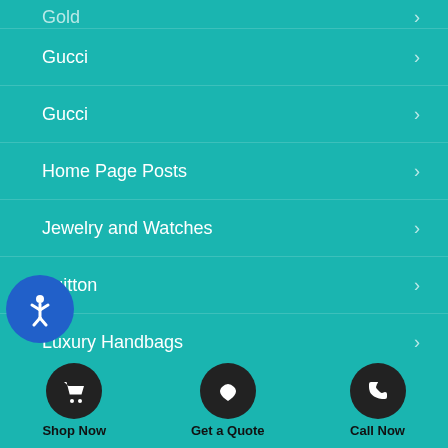Guci (partial, top cut off)
Gucci
Gucci
Home Page Posts
Jewelry and Watches
Vuitton
Luxury Handbags
Motorcycle
Musical Instruments